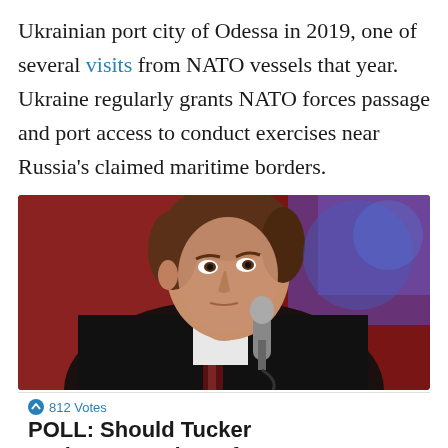Ukrainian port city of Odessa in 2019, one of several visits from NATO vessels that year. Ukraine regularly grants NATO forces passage and port access to conduct exercises near Russia's claimed maritime borders.
[Figure (photo): A man in a dark suit holding a microphone, looking upward, with a blurred reddish-orange background.]
812 Votes
POLL: Should Tucker Carlson step down from